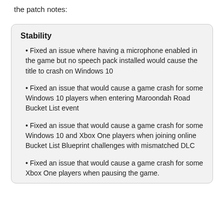the patch notes:
Stability
Fixed an issue where having a microphone enabled in the game but no speech pack installed would cause the title to crash on Windows 10
Fixed an issue that would cause a game crash for some Windows 10 players when entering Maroondah Road Bucket List event
Fixed an issue that would cause a game crash for some Windows 10 and Xbox One players when joining online Bucket List Blueprint challenges with mismatched DLC
Fixed an issue that would cause a game crash for some Xbox One players when pausing the game.